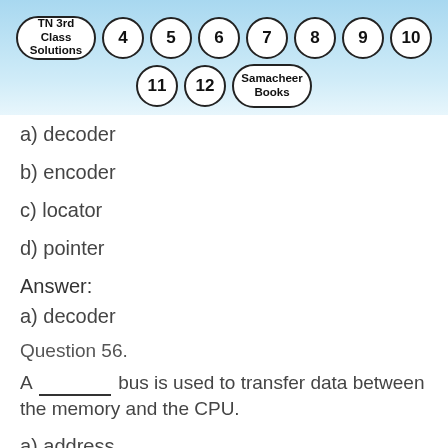[Figure (logo): TN 3rd Class Solutions header banner with numbered circles: 4, 5, 6, 7, 8, 9, 10, 11, 12, and Samacheer Books]
a) decoder
b) encoder
c) locator
d) pointer
Answer:
a) decoder
Question 56.
A ________ bus is used to transfer data between the memory and the CPU.
a) address
b) data